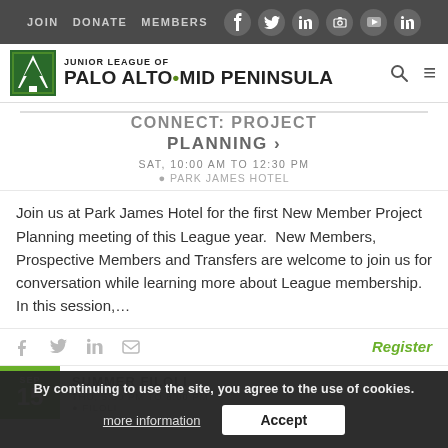JOIN  DONATE  MEMBERS
JUNIOR LEAGUE OF PALO ALTO•MID PENINSULA
CONNECT: PROJECT PLANNING >
SAT, 10:00 AM TO 12:30 PM
PARK JAMES HOTEL
Join us at Park James Hotel for the first New Member Project Planning meeting of this League year.  New Members, Prospective Members and Transfers are welcome to join us for conversation while learning more about League membership. In this session,...
Register
SEP 15
SUMMER FILOLI
THU, 5:30 PM TO 8:00 PM
FILOLI
By continuing to use the site, you agree to the use of cookies. more information  Accept